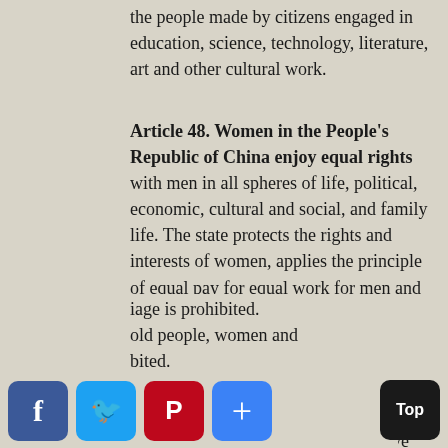the people made by citizens engaged in education, science, technology, literature, art and other cultural work.
Article 48. Women in the People's Republic of China enjoy equal rights with men in all spheres of life, political, economic, cultural and social, and family life. The state protects the rights and interests of women, applies the principle of equal pay for equal work for men and women alike and trains and selects cadres from among women.
Article 49. Marriage, the family, and mother and child are protected by the state. Both husband and wife have the duty to practise family planning. Parents have the duty to rear and educate their minor children, and children who have come of age have the duty to support and assist their parents. Violation of the [marriage] is prohibited. [old people, women and ...] bited.